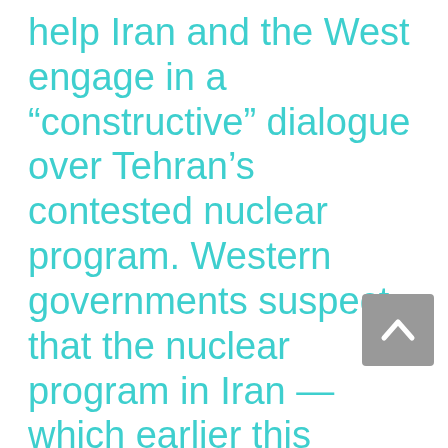help Iran and the West engage in a “constructive” dialogue over Tehran’s contested nuclear program. Western governments suspect that the nuclear program in Iran — which earlier this month started higher grade uranium enrichment — is cover for a drive to produce a bomb. Iran, which has already been slapped with three sets of U.N. sanctions over its uranium